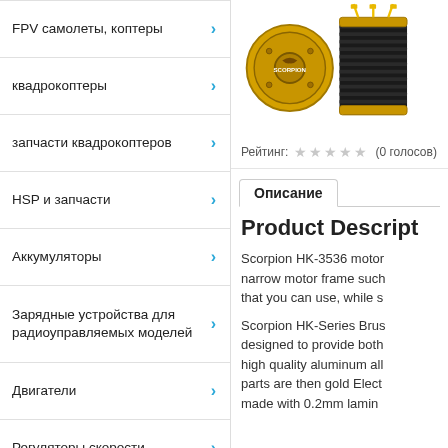FPV самолеты, коптеры
квадрокоптеры
запчасти квадрокоптеров
HSP и запчасти
Аккумуляторы
Зарядные устройства для радиоуправляемых моделей
Двигатели
Регуляторы скорости
Сервомашинки
Аппаратура управления и симуляторы
Радиоуправляемые модели вертолетов (RC)
[Figure (photo): Scorpion HK-3536 brushless motor product photo showing two motors - one showing the Scorpion logo face and one showing the cylindrical body with wires]
Рейтинг: ☆☆☆☆☆ (0 голосов)
Описание
Product Descript
Scorpion HK-3536 motor narrow motor frame such that you can use, while s
Scorpion HK-Series Brus designed to provide both high quality aluminum all parts are then gold Elect made with 0.2mm lamin